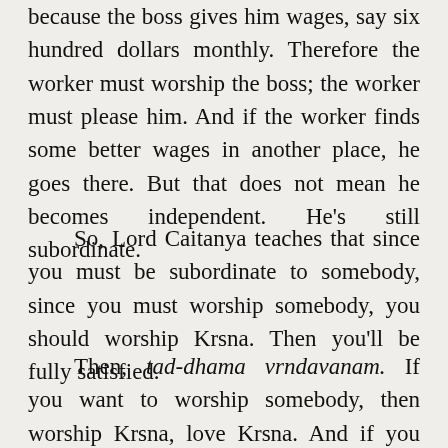because the boss gives him wages, say six hundred dollars monthly. Therefore the worker must worship the boss; the worker must please him. And if the worker finds some better wages in another place, he goes there. But that does not mean he becomes independent. He's still subordinate.
So, Lord Caitanya teaches that since you must be subordinate to somebody, since you must worship somebody, you should worship Krsna. Then you'll be fully satisfied.
Then, tad-dhama vrndavanam. If you want to worship somebody, then worship Krsna, love Krsna. And if you want to worship some place, worship His place, Vrndavana. Everyone wants to love some place —some country or nation. Somebody says, "I love this American land." Somebody says, "I love this Chinese